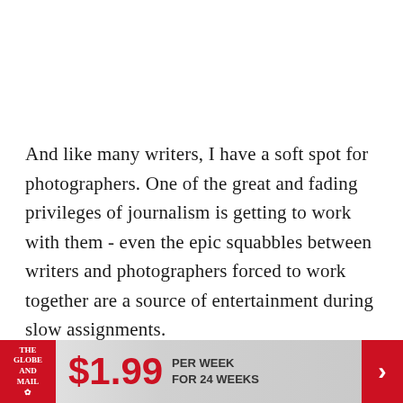And like many writers, I have a soft spot for photographers. One of the great and fading privileges of journalism is getting to work with them - even the epic squabbles between writers and photographers forced to work together are a source of entertainment during slow assignments.
On my first few days at the Libyan front lines, I spent a lot of time trying to track down John, a photographer whom I hadn't seen in years. Before I
[Figure (other): Advertisement banner for The Globe and Mail: $1.99 per week for 24 weeks, with red logo on left and red arrow on right]